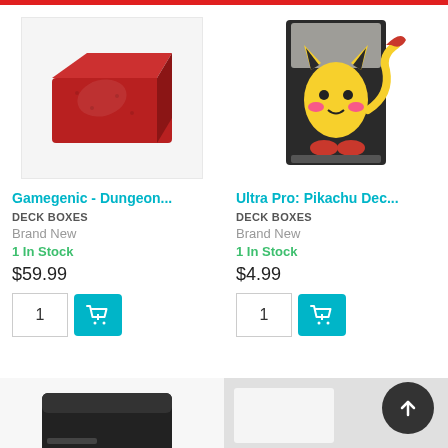[Figure (photo): Red suede/fabric deck box on white background]
[Figure (photo): Ultra Pro Pikachu deck box in packaging on dark background]
Gamegenic - Dungeon...
DECK BOXES
Brand New
1 In Stock
$59.99
Ultra Pro: Pikachu Dec...
DECK BOXES
Brand New
1 In Stock
$4.99
[Figure (photo): Partial black deck box at bottom left]
[Figure (photo): Partial white product image at bottom right]